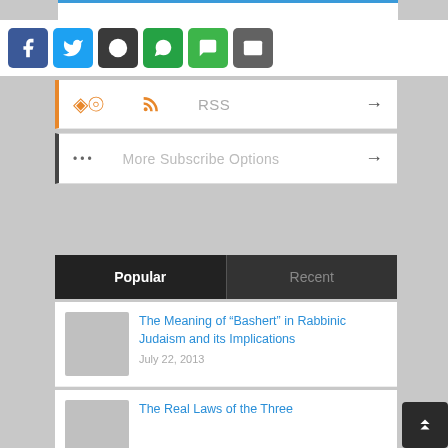[Figure (screenshot): Social share buttons: Facebook (blue), Twitter (light blue), Reddit (dark gray), WhatsApp (green), SMS (green), Email (gray)]
RSS →
More Subscribe Options →
Popular | Recent
The Meaning of "Bashert" in Rabbinic Judaism and its Implications
July 22, 2013
The Real Laws of the Three